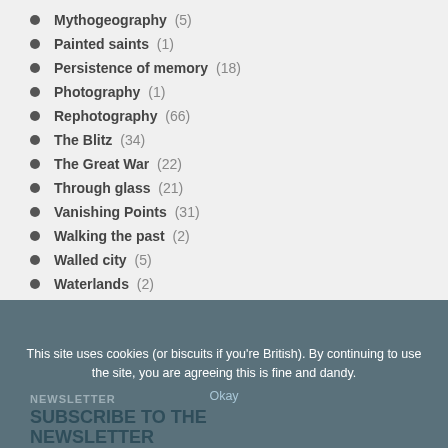Mythogeography (5)
Painted saints (1)
Persistence of memory (18)
Photography (1)
Rephotography (66)
The Blitz (34)
The Great War (22)
Through glass (21)
Vanishing Points (31)
Walking the past (2)
Walled city (5)
Waterlands (2)
This site uses cookies (or biscuits if you're British). By continuing to use the site, you are agreeing this is fine and dandy. Okay | SUBSCRIBE TO THE NEWSLETTER